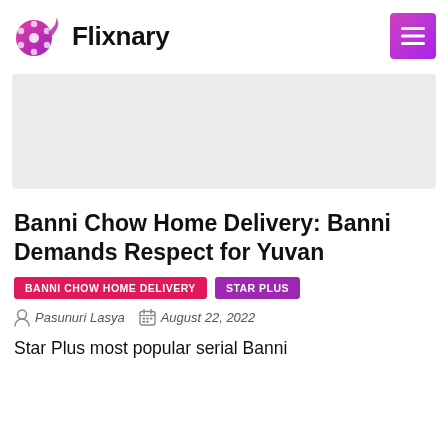Flixnary
[Figure (other): Gray advertisement banner placeholder]
Banni Chow Home Delivery: Banni Demands Respect for Yuvan
BANNI CHOW HOME DELIVERY   STAR PLUS
Pasunuri Lasya   August 22, 2022
Star Plus most popular serial Banni